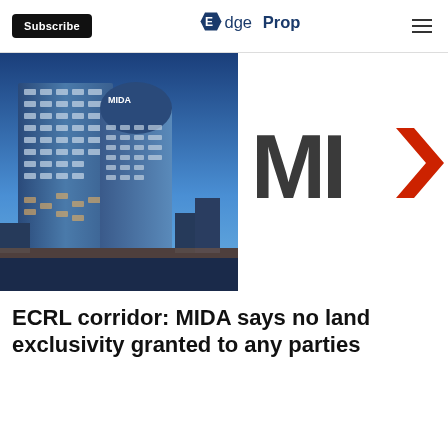Subscribe | EdgeProp
[Figure (photo): Two tall glass office buildings at night/dusk with city lights, alongside MIDA logo (letters MI and a red chevron arrow)]
ECRL corridor: MIDA says no land exclusivity granted to any parties